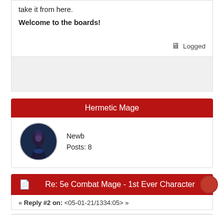take it from here.
Welcome to the boards!
🖥 Logged
Hermetic Mage
Newb
Posts: 8
Re: 5e Combat Mage - 1st Ever Character
« Reply #2 on: <05-01-21/1334:05> »